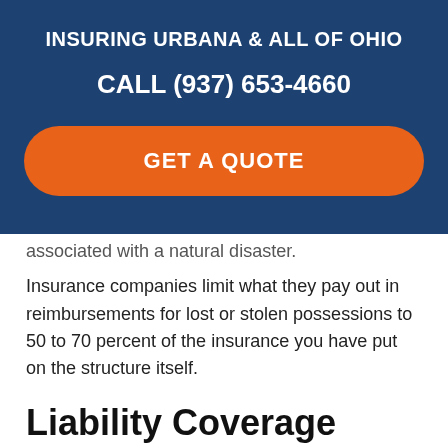INSURING URBANA & ALL OF OHIO
CALL (937) 653-4660
GET A QUOTE
associated with a natural disaster. Insurance companies limit what they pay out in reimbursements for lost or stolen possessions to 50 to 70 percent of the insurance you have put on the structure itself.
Liability Coverage